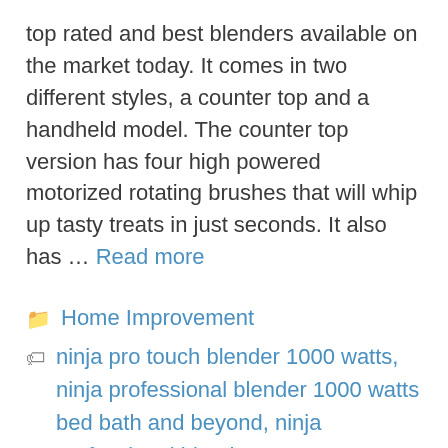top rated and best blenders available on the market today. It comes in two different styles, a counter top and a handheld model. The counter top version has four high powered motorized rotating brushes that will whip up tasty treats in just seconds. It also has … Read more
Home Improvement
ninja pro touch blender 1000 watts, ninja professional blender 1000 watts bed bath and beyond, ninja professional blender 1000 watts bl610, nutri ninja pro blender 1000 watt, nutri ninja pro personal blender 1000 watts